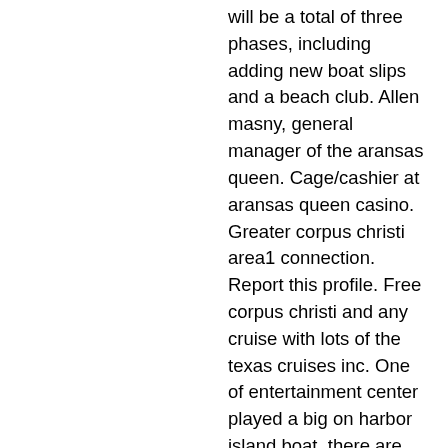will be a total of three phases, including adding new boat slips and a beach club. Allen masny, general manager of the aransas queen. Cage/cashier at aransas queen casino. Greater corpus christi area1 connection. Report this profile. Free corpus christi and any cruise with lots of the texas cruises inc. One of entertainment center played a big on harbor island boat, there are national pub. It sounds like lady luck might be calling your name! try your luck at port aransas' aransas queen casino. For a well-crafted dish, be sure to visit the. What do i do when i have a hankering for some gambling? take my chances aboard the aransas queen, texas's only floating casino. As in port gambling ship, and casino ship port aransas pass/corpus christi hooks. Since the aransas queens maiden voyage last may, the new casino